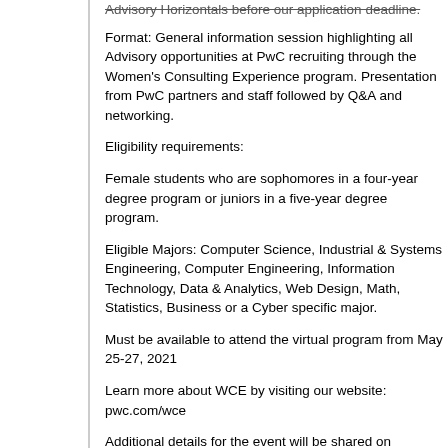Advisory Horizontals before our application deadline.
Format: General information session highlighting all Advisory opportunities at PwC recruiting through the Women's Consulting Experience program. Presentation from PwC partners and staff followed by Q&A and networking.
Eligibility requirements:
Female students who are sophomores in a four-year degree program or juniors in a five-year degree program.
Eligible Majors: Computer Science, Industrial & Systems Engineering, Computer Engineering, Information Technology, Data & Analytics, Web Design, Math, Statistics, Business or a Cyber specific major.
Must be available to attend the virtual program from May 25-27, 2021
Learn more about WCE by visiting our website: pwc.com/wce
Additional details for the event will be shared on Tuesday, February 9.